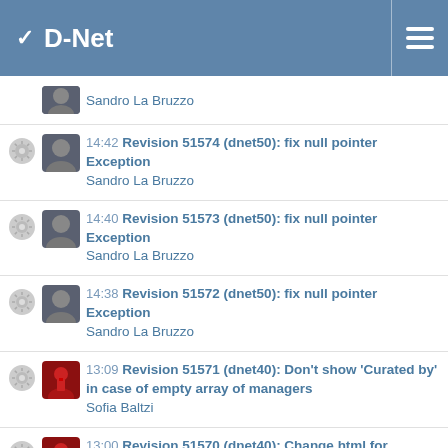D-Net
Sandro La Bruzzo
14:42 Revision 51574 (dnet50): fix null pointer Exception
Sandro La Bruzzo
14:40 Revision 51573 (dnet50): fix null pointer Exception
Sandro La Bruzzo
14:38 Revision 51572 (dnet50): fix null pointer Exception
Sandro La Bruzzo
13:09 Revision 51571 (dnet40): Don't show 'Curated by' in case of empty array of managers
Sofia Baltzi
13:00 Revision 51570 (dnet40): Change html for subjects in case of getting more than 10
Sofia Baltzi
11:49 Revision 51569 (dnet40): Remove comments
Sofia Baltzi